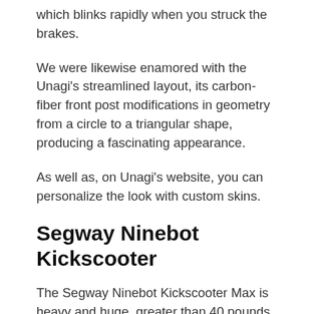which blinks rapidly when you struck the brakes.
We were likewise enamored with the Unagi's streamlined layout, its carbon-fiber front post modifications in geometry from a circle to a triangular shape, producing a fascinating appearance.
As well as, on Unagi's website, you can personalize the look with custom skins.
Segway Ninebot Kickscooter
The Segway Ninebot Kickscooter Max is heavy and huge, greater than 40 pounds, yet it's all battery weight.
With an estimated series of 40 miles, the